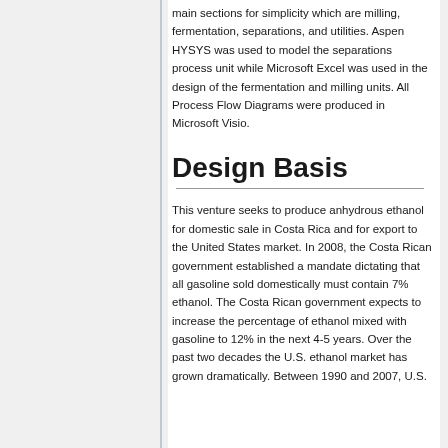main sections for simplicity which are milling, fermentation, separations, and utilities. Aspen HYSYS was used to model the separations process unit while Microsoft Excel was used in the design of the fermentation and milling units. All Process Flow Diagrams were produced in Microsoft Visio.
Design Basis
This venture seeks to produce anhydrous ethanol for domestic sale in Costa Rica and for export to the United States market. In 2008, the Costa Rican government established a mandate dictating that all gasoline sold domestically must contain 7% ethanol. The Costa Rican government expects to increase the percentage of ethanol mixed with gasoline to 12% in the next 4-5 years. Over the past two decades the U.S. ethanol market has grown dramatically. Between 1990 and 2007, U.S.